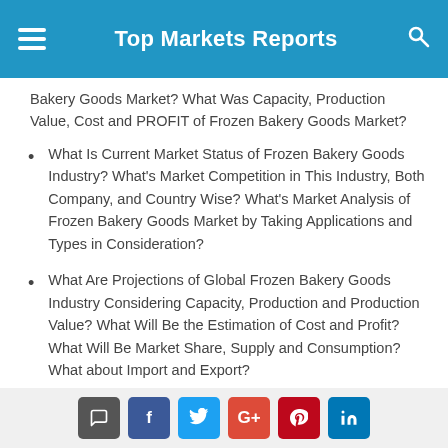Top Markets Reports
Bakery Goods Market? What Was Capacity, Production Value, Cost and PROFIT of Frozen Bakery Goods Market?
What Is Current Market Status of Frozen Bakery Goods Industry? What’s Market Competition in This Industry, Both Company, and Country Wise? What’s Market Analysis of Frozen Bakery Goods Market by Taking Applications and Types in Consideration?
What Are Projections of Global Frozen Bakery Goods Industry Considering Capacity, Production and Production Value? What Will Be the Estimation of Cost and Profit? What Will Be Market Share, Supply and Consumption? What about Import and Export?